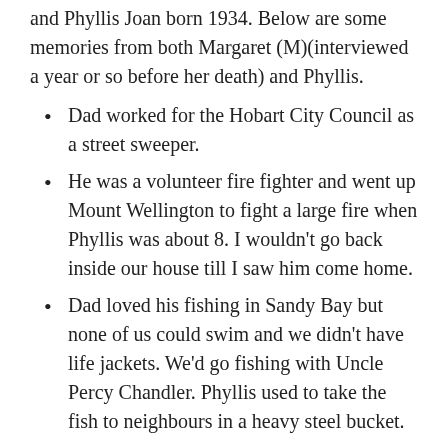and Phyllis Joan born 1934. Below are some memories from both Margaret (M)(interviewed a year or so before her death) and Phyllis.
Dad worked for the Hobart City Council as a street sweeper.
He was a volunteer fire fighter and went up Mount Wellington to fight a large fire when Phyllis was about 8. I wouldn't go back inside our house till I saw him come home.
Dad loved his fishing in Sandy Bay but none of us could swim and we didn't have life jackets. We'd go fishing with Uncle Percy Chandler. Phyllis used to take the fish to neighbours in a heavy steel bucket.